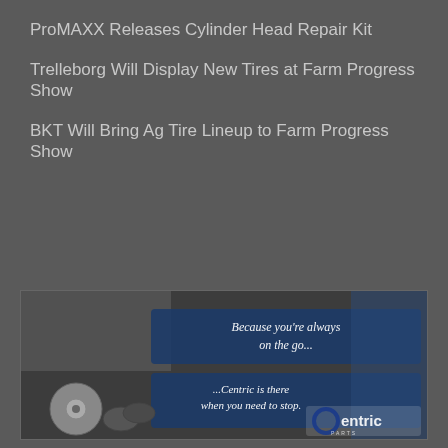ProMAXX Releases Cylinder Head Repair Kit
Trelleborg Will Display New Tires at Farm Progress Show
BKT Will Bring Ag Tire Lineup to Farm Progress Show
[Figure (photo): Centric Parts advertisement showing brake rotors and brake pads with text 'Because you're always on the go... ...Centric is there when you need to stop.' with Centric Parts logo]